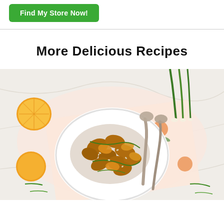Find My Store Now!
More Delicious Recipes
[Figure (photo): Overhead shot of a white bowl of orange chicken stir-fry with sesame seeds and green onions, placed on an orange-print floral cloth napkin on a marble surface, surrounded by halved oranges, a whole orange, green onions, and serving spoons.]